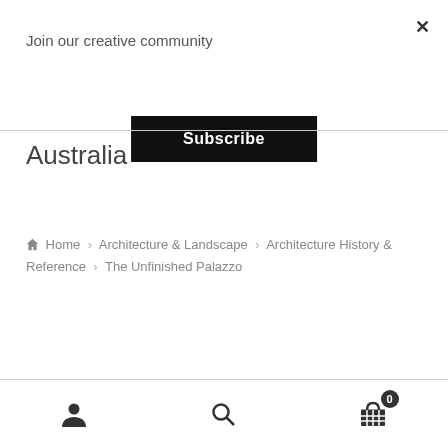×
Join our creative community
Subscribe
Australia
🏠 Home › Architecture & Landscape › Architecture History & Reference › The Unfinished Palazzo
User icon | Search icon | Cart (0)